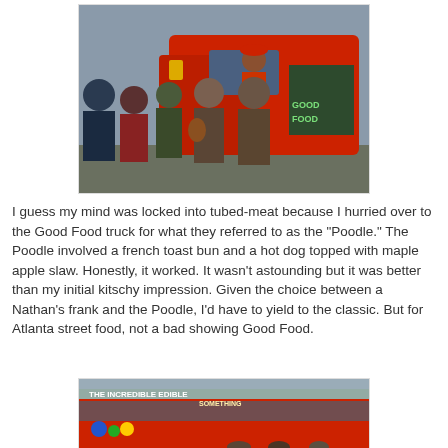[Figure (photo): People lined up at a red Good Food truck. A server in a red beret leans out the window. Customers stand in line. The truck has a chalkboard sign reading 'GOOD FOOD'.]
I guess my mind was locked into tubed-meat because I hurried over to the Good Food truck for what they referred to as the "Poodle." The Poodle involved a french toast bun and a hot dog topped with maple apple slaw. Honestly, it worked. It wasn't astounding but it was better than my initial kitschy impression. Given the choice between a Nathan's frank and the Poodle, I'd have to yield to the classic. But for Atlanta street food, not a bad showing Good Food.
[Figure (photo): Close-up of a red food truck with colorful lettering reading 'THE INCREDIBLE EDIBLE SOMETHING' on the side.]